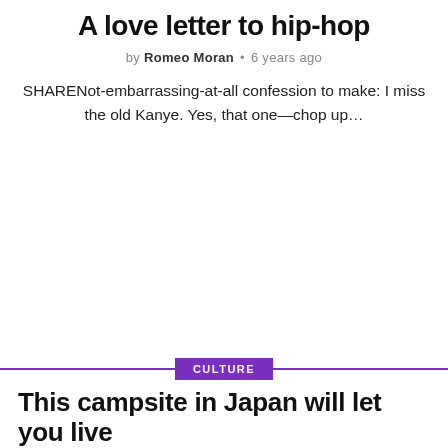A love letter to hip-hop
by Romeo Moran • 6 years ago
SHARENot-embarrassing-at-all confession to make: I miss the old Kanye. Yes, that one—chop up…
CULTURE
This campsite in Japan will let you live